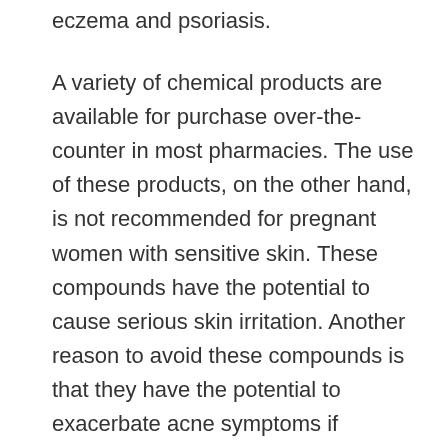eczema and psoriasis.
A variety of chemical products are available for purchase over-the-counter in most pharmacies. The use of these products, on the other hand, is not recommended for pregnant women with sensitive skin. These compounds have the potential to cause serious skin irritation. Another reason to avoid these compounds is that they have the potential to exacerbate acne symptoms if consumed.
In order to achieve the finest results from the best face wash for acne, you must use a product made entirely of natural ingredients. Aloe Vera is found in the greatest facial cleansers. This type of product is normally accessible at your local drugstore or pharmacy. There are other places where you may